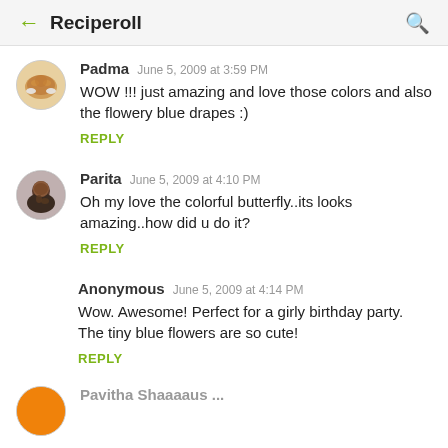← Reciperoll 🔍
Padma   June 5, 2009 at 3:59 PM
WOW !!! just amazing and love those colors and also the flowery blue drapes :)
REPLY
Parita   June 5, 2009 at 4:10 PM
Oh my love the colorful butterfly..its looks amazing..how did u do it?
REPLY
Anonymous   June 5, 2009 at 4:14 PM
Wow. Awesome! Perfect for a girly birthday party. The tiny blue flowers are so cute!
REPLY
Pavitha Shaaaaus ...